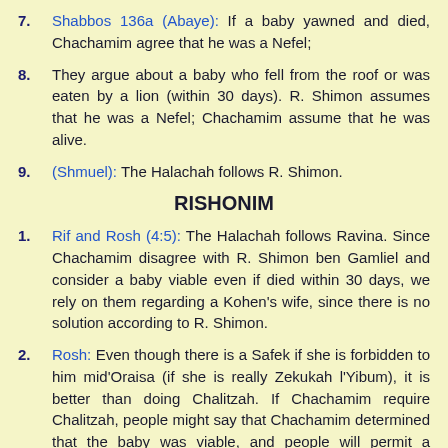7. Shabbos 136a (Abaye): If a baby yawned and died, Chachamim agree that he was a Nefel;
8. They argue about a baby who fell from the roof or was eaten by a lion (within 30 days). R. Shimon assumes that he was a Nefel; Chachamim assume that he was alive.
9. (Shmuel): The Halachah follows R. Shimon.
RISHONIM
1. Rif and Rosh (4:5): The Halachah follows Ravina. Since Chachamim disagree with R. Shimon ben Gamliel and consider a baby viable even if died within 30 days, we rely on them regarding a Kohen's wife, since there is no solution according to R. Shimon.
2. Rosh: Even though there is a Safek if she is forbidden to him mid'Oraisa (if she is really Zekukah l'Yibum), it is better than doing Chalitzah. If Chachamim require Chalitzah, people might say that Chachamim determined that the baby was viable, and people will permit a Chalutzah to a Kohen.